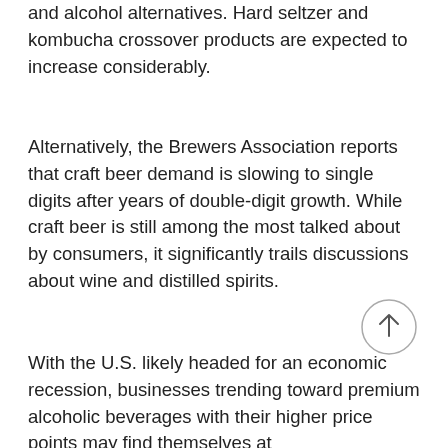and alcohol alternatives. Hard seltzer and kombucha crossover products are expected to increase considerably.
Alternatively, the Brewers Association reports that craft beer demand is slowing to single digits after years of double-digit growth. While craft beer is still among the most talked about by consumers, it significantly trails discussions about wine and distilled spirits.
With the U.S. likely headed for an economic recession, businesses trending toward premium alcoholic beverages with their higher price points may find themselves at